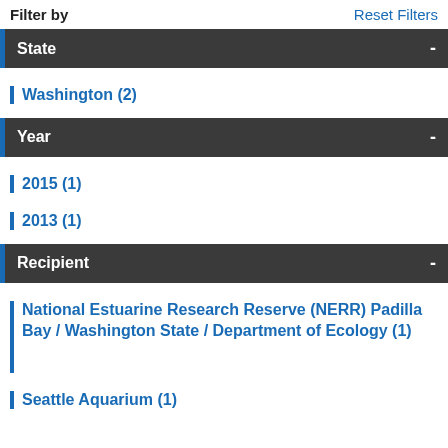Filter by
Reset Filters
State
Washington (2)
Year
2015 (1)
2013 (1)
Recipient
National Estuarine Research Reserve (NERR) Padilla Bay / Washington State / Department of Ecology (1)
Seattle Aquarium (1)